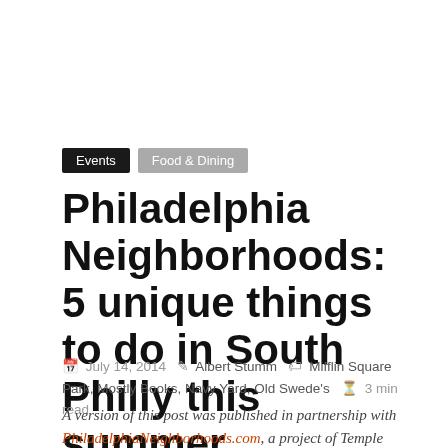Events | Food & Dining
Philadelphia Neighborhoods: 5 unique things to do in South Philly this summer
July 14, 2014  Albert Stumm  Mifflin Square Park, Mostly Books, Navy Yard, Old Swede's  3 min read
A version of this post was published in partnership with PhiladelphiaNeighborhoods.com, a project of Temple University's journalism program.